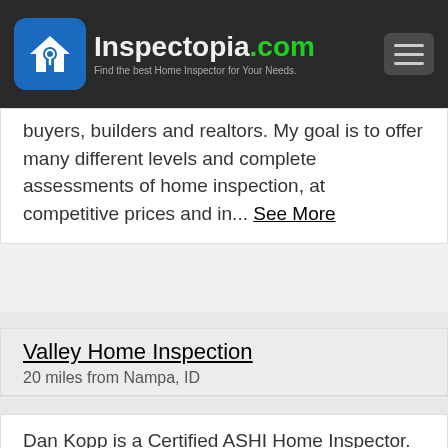Inspectopia.com — Find the best Home Inspector for Your Needs.
buyers, builders and realtors. My goal is to offer many different levels and complete assessments of home inspection, at competitive prices and in... See More
Valley Home Inspection
20 miles from Nampa, ID
Dan Kopp is a Certified ASHI Home Inspector. A former licensed California General Contractor, Dan has been a Professional home inspector since 2001, has completed extensive home inspection training, preformed over 4000 inspections and is an ITA grad... See More